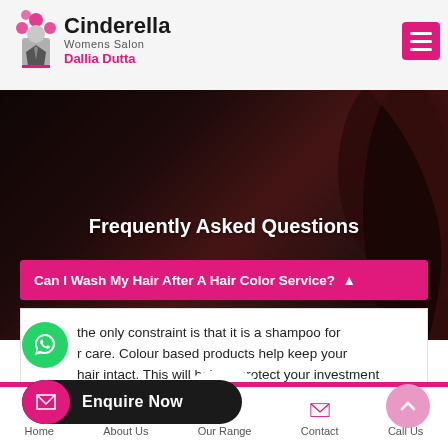[Figure (screenshot): Cinderella Womens Salon logo with pink flower icon and stylized text]
Dallia Dutta
Frequently Asked Questions
Can I Wash My Hair After A Hair Color Service? ^
the only constraint is that it is a shampoo for care. Colour based products help keep your hair intact. This will help to protect your investment time.
Enquire Now
Home   About Us   Our Range   Contact   Call Us